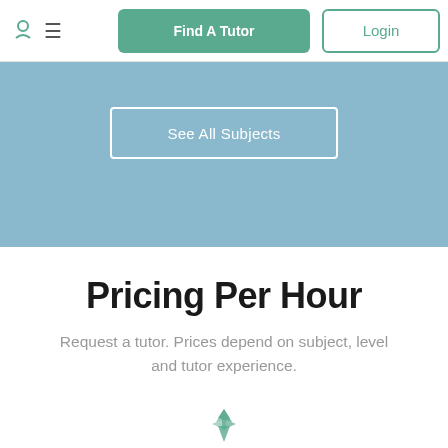Find A Tutor | Login
[Figure (screenshot): Blue banner section with a 'See All Subjects' button]
Pricing Per Hour
Request a tutor. Prices depend on subject, level and tutor experience.
[Figure (illustration): Teal/green decorative icon at the bottom of the page]